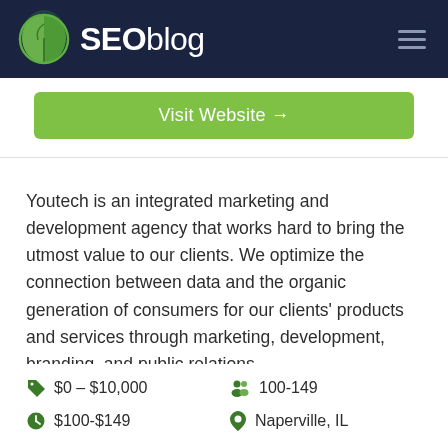SEOblog
Visit Website →
Youtech is an integrated marketing and development agency that works hard to bring the utmost value to our clients. We optimize the connection between data and the organic generation of consumers for our clients' products and services through marketing, development, branding, and public relations.
$0 – $10,000
100-149
$100-$149
Naperville, IL